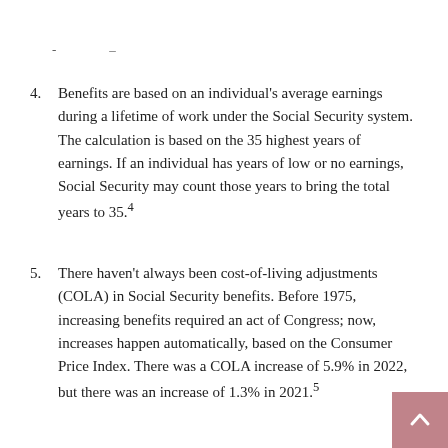- -
4. Benefits are based on an individual's average earnings during a lifetime of work under the Social Security system. The calculation is based on the 35 highest years of earnings. If an individual has years of low or no earnings, Social Security may count those years to bring the total years to 35.4
5. There haven't always been cost-of-living adjustments (COLA) in Social Security benefits. Before 1975, increasing benefits required an act of Congress; now, increases happen automatically, based on the Consumer Price Index. There was a COLA increase of 5.9% in 2022, but there was an increase of 1.3% in 2021.5